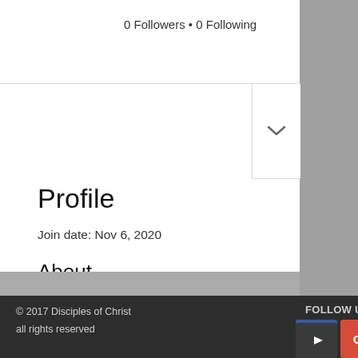0 Followers • 0 Following
Profile
Join date: Nov 6, 2020
About
0 Like Received   0 Comment Received
0 Best Answer
© 2017 Disciples of Christ all rights reserved
FOLLOW US: